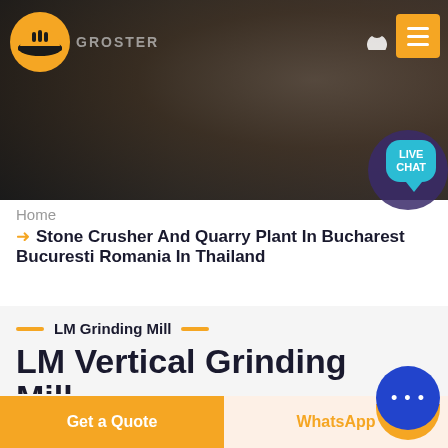[Figure (screenshot): Website header banner with dark industrial/rocky background, company logo with orange hard-hat icon on left, moon icon and orange menu button on right, teal live chat speech bubble in lower right area]
Home
Stone Crusher And Quarry Plant In Bucharest Bucuresti Romania In Thailand
LM Grinding Mill
LM Vertical Grinding Mill
We have successively launched vertical mill products w... independent intellectual property rights. Product Features
Get a Quote | WhatsApp